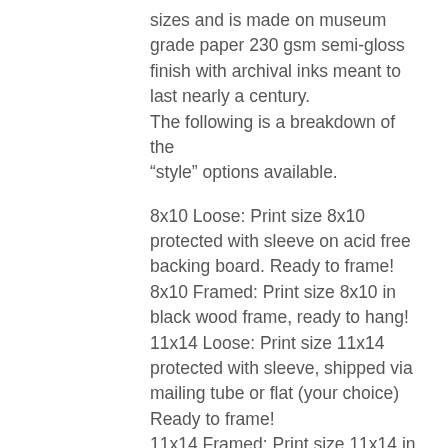sizes and is made on museum grade paper 230 gsm semi-gloss finish with archival inks meant to last nearly a century. The following is a breakdown of the "style" options available.
8x10 Loose: Print size 8x10 protected with sleeve on acid free backing board. Ready to frame! 8x10 Framed: Print size 8x10 in black wood frame, ready to hang! 11x14 Loose: Print size 11x14 protected with sleeve, shipped via mailing tube or flat (your choice) Ready to frame! 11x14 Framed: Print size 11x14 in black wood frame, ready to hang! 11x14 Framed w/matte: Print size